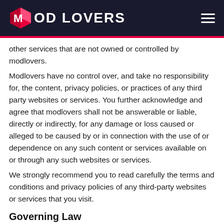MOD LOVERS
other services that are not owned or controlled by modlovers.
Modlovers have no control over, and take no responsibility for, the content, privacy policies, or practices of any third party websites or services. You further acknowledge and agree that modlovers shall not be answerable or liable, directly or indirectly, for any damage or loss caused or alleged to be caused by or in connection with the use of or dependence on any such content or services available on or through any such websites or services.
We strongly recommend you to read carefully the terms and conditions and privacy policies of any third-party websites or services that you visit.
Governing Law